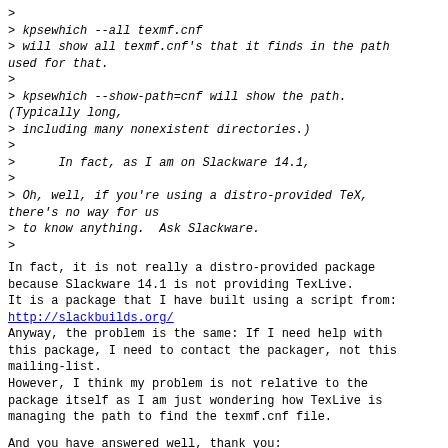>
> kpsewhich --all texmf.cnf
> will show all texmf.cnf's that it finds in the path used for that.
>
> kpsewhich --show-path=cnf will show the path.
(Typically long,
> including many nonexistent directories.)
>
>      In fact, as I am on Slackware 14.1,
>
> Oh, well, if you're using a distro-provided TeX, there's no way for us
> to know anything.  Ask Slackware.
>
In fact, it is not really a distro-provided package because Slackware 14.1 is not providing TexLive.
It is a package that I have built using a script from:
http://slackbuilds.org/
Anyway, the problem is the same: If I need help with this package, I need to contact the packager, not this mailing-list.
However, I think my problem is not relative to the package itself as I am just wondering how TexLive is managing the path to find the texmf.cnf file.
And you have answered well, thank you:
$ kpsewhich --all texmf.cnf